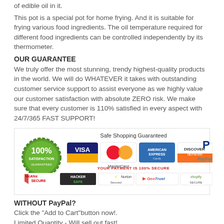of edible oil in it.
This pot is a special pot for home frying. And it is suitable for frying various food ingredients. The oil temperature required for different food ingredients can be controlled independently by its thermometer.
OUR GUARANTEE
We truly offer the most stunning, trendy highest-quality products in the world. We will do WHATEVER it takes with outstanding customer service support to assist everyone as we highly value our customer satisfaction with absolute ZERO risk. We make sure that every customer is 110% satisfied in every aspect with 24/7/365 FAST SUPPORT!
[Figure (infographic): Safe Shopping Guaranteed badge with 100% Satisfaction seal, Visa, MasterCard, American Express, Discover, PayPal logos, YOUR PAYMENT IS 100% SECURE text, McAfee Secure, Hacker Safe, Norton Secured, GeoTrust, Shopify Secure badges]
WITHOUT PayPal?
Click the "Add to Cart"button now!.
Limited Quantity - Will sell out fast!
You don't need a Paypal account to checkout.